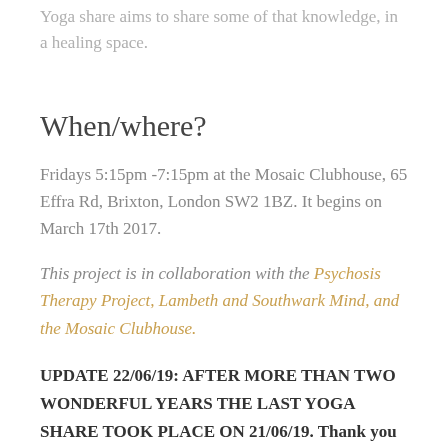Yoga share aims to share some of that knowledge, in a healing space.
When/where?
Fridays 5:15pm -7:15pm at the Mosaic Clubhouse, 65 Effra Rd, Brixton, London SW2 1BZ. It begins on March 17th 2017.
This project is in collaboration with the Psychosis Therapy Project, Lambeth and Southwark Mind, and the Mosaic Clubhouse.
UPDATE 22/06/19: AFTER MORE THAN TWO WONDERFUL YEARS THE LAST YOGA SHARE TOOK PLACE ON 21/06/19. Thank you to all those who came, shared, supported and gave feedback. It was an amazing